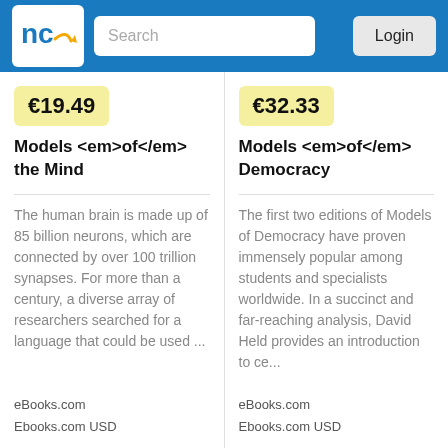nc [logo] Search Login
€19.49
Models <em>of</em> the Mind
The human brain is made up of 85 billion neurons, which are connected by over 100 trillion synapses. For more than a century, a diverse array of researchers searched for a language that could be used ...
eBooks.com
Ebooks.com USD
€32.33
Models <em>of</em> Democracy
The first two editions of Models of Democracy have proven immensely popular among students and specialists worldwide. In a succinct and far-reaching analysis, David Held provides an introduction to ce...
eBooks.com
Ebooks.com USD